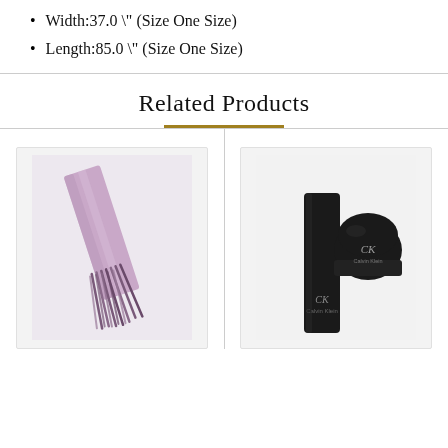Width:37.0 \" (Size One Size)
Length:85.0 \" (Size One Size)
Related Products
[Figure (photo): Purple/lavender scarf with fringe ends on white background]
[Figure (photo): Black Calvin Klein scarf and beanie set with logo on white background]